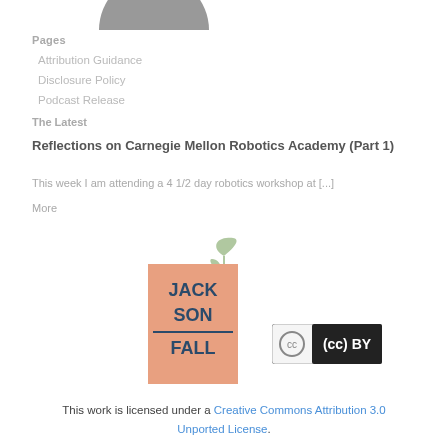[Figure (illustration): Partial grey circle avatar at top of sidebar]
Pages
Attribution Guidance
Disclosure Policy
Podcast Release
The Latest
Reflections on Carnegie Mellon Robotics Academy (Part 1)
This week I am attending a 4 1/2 day robotics workshop at [...]
More
[Figure (logo): Leaf/plant icon in light grey]
[Figure (logo): Jackson Fall blog logo — colorful square badge with JACK SON FALL text]
[Figure (logo): Creative Commons BY license badge]
This work is licensed under a Creative Commons Attribution 3.0 Unported License.